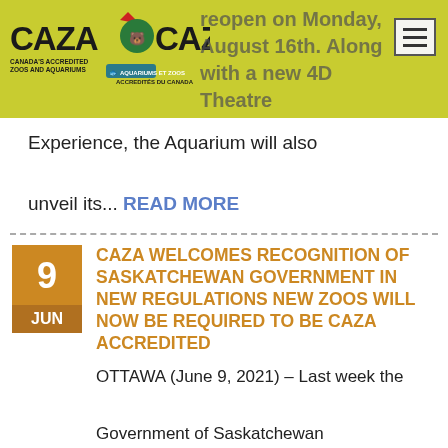[Figure (logo): CAZA CAZAC logo — Canada's Accredited Zoos and Aquariums / Aquariums et Zoos Accredités du Canada, with bear and bird icons]
reopen on Monday, August 16th. Along with a new 4D Theatre Experience, the Aquarium will also unveil its... READ MORE
CAZA WELCOMES RECOGNITION OF SASKATCHEWAN GOVERNMENT IN NEW REGULATIONS NEW ZOOS WILL NOW BE REQUIRED TO BE CAZA ACCREDITED
OTTAWA (June 9, 2021) – Last week the Government of Saskatchewan